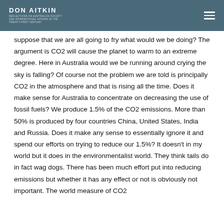DON AITKIN
suppose that we are all going to fry what would we be doing? The argument is CO2 will cause the planet to warm to an extreme degree. Here in Australia would we be running around crying the sky is falling? Of course not the problem we are told is principally CO2 in the atmosphere and that is rising all the time. Does it make sense for Australia to concentrate on decreasing the use of fossil fuels? We produce 1.5% of the CO2 emissions. More than 50% is produced by four countries China, United States, India and Russia. Does it make any sense to essentially ignore it and spend our efforts on trying to reduce our 1.5%? It doesn't in my world but it does in the environmentalist world. They think tails do in fact wag dogs. There has been much effort put into reducing emissions but whether it has any effect or not is obviously not important. The world measure of CO2